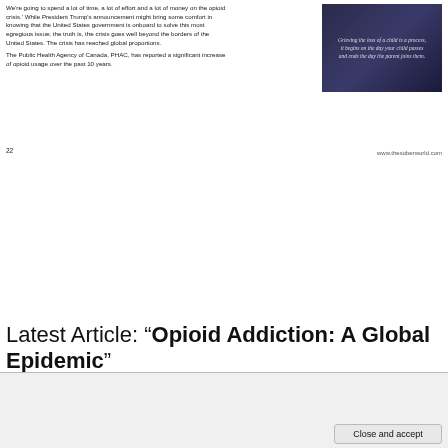We're going to spend a lot of time, a lot of effort and a lot of money on the opioid crisis.' While President Trump's announcement might bring some comfort in knowing that the United States government is onboard to solve this most egregious issue; the truth is, the crisis goes well beyond the borders of the United States. The crisis has reached global proportions.

The Public Health Agency of Canada, PHAC, has reported a significant increase of opioid usage over the past 10 years.
[Figure (photo): Dark blue background image with italic quote text: 'Grieving the loss of a child is a process, it begins on the day your child passes and ends the day the parent joins them.']
22
www.thesoberworld.com
Latest Article: “Opioid Addiction: A Global Epidemic”
The article has been published with the The Sober World Magazine.
Privacy & Cookies: This site uses cookies. By continuing to use this website, you agree to their use.
To find out more, including how to control cookies, see here: Cookie Policy
Close and accept